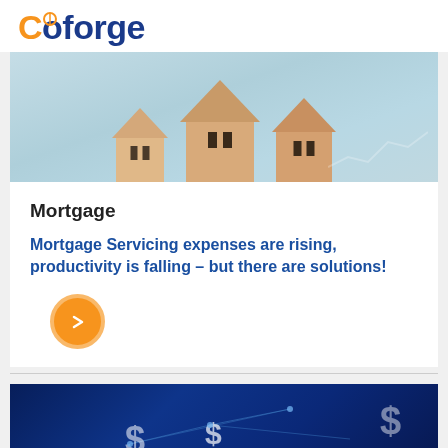Coforge
[Figure (photo): Wooden house models on a light blue background with a financial chart line overlay]
Mortgage
Mortgage Servicing expenses are rising, productivity is falling – but there are solutions!
[Figure (illustration): Orange circular arrow button (right-pointing chevron)]
[Figure (photo): Dark blue background with dollar sign symbols and network/connection lines]